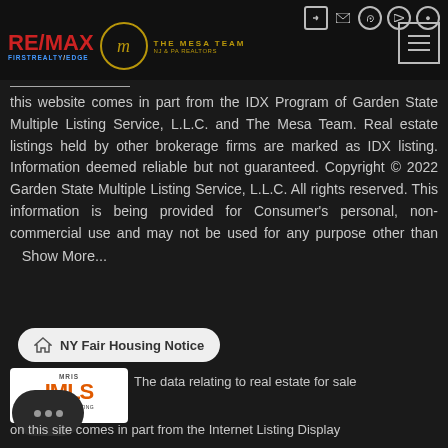RE/MAX FIRSTREALTY/EDGE | THE MESA TEAM
this website comes in part from the IDX Program of Garden State Multiple Listing Service, L.L.C. and The Mesa Team. Real estate listings held by other brokerage firms are marked as IDX listing. Information deemed reliable but not guaranteed. Copyright © 2022 Garden State Multiple Listing Service, L.L.C. All rights reserved. This information is being provided for Consumer's personal, non-commercial use and may not be used for any purpose other than    Show More...
NY Fair Housing Notice
The data relating to real estate for sale on this site comes in part from the Internet Listing Display (ILD) of the CENTRAL JERSEY MULTIPLE LISTING SYSTEM